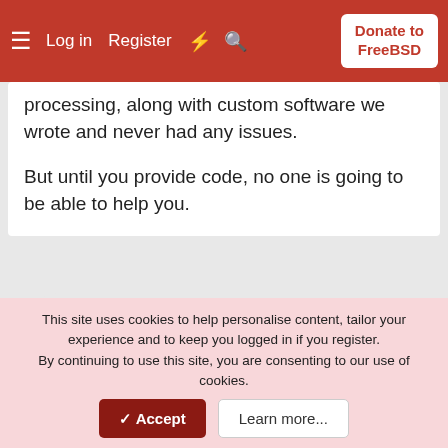Log in  Register  Donate to FreeBSD
processing, along with custom software we wrote and never had any issues.

But until you provide code, no one is going to be able to help you.
VladiBG
Feb 12, 2022  #8
If the software is using inotify(7) to monitor file changes this may explain why it's not refreshing under FreeBSD. See how your devserver is
This site uses cookies to help personalise content, tailor your experience and to keep you logged in if you register.
By continuing to use this site, you are consenting to our use of cookies.
✓ Accept  Learn more...